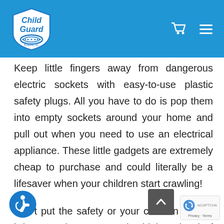Child Guard logo with navigation icons
Keep little fingers away from dangerous electric sockets with easy-to-use plastic safety plugs. All you have to do is pop them into empty sockets around your home and pull out when you need to use an electrical appliance. These little gadgets are extremely cheap to purchase and could literally be a lifesaver when your children start crawling!
Don't put the safety or your children at risk, bring your home up to the highest level of security.